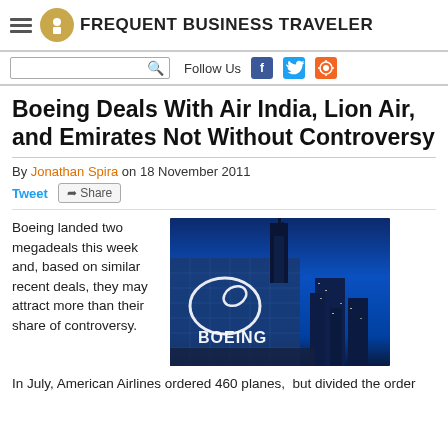FREQUENT BUSINESS TRAVELER
Boeing Deals With Air India, Lion Air, and Emirates Not Without Controversy
By Jonathan Spira on 18 November 2011
Boeing landed two megadeals this week and, based on similar recent deals, they may attract more than their share of controversy.
[Figure (photo): Boeing building with illuminated Boeing logo at night with city skyline in background]
In July, American Airlines ordered 460 planes,  but divided the order